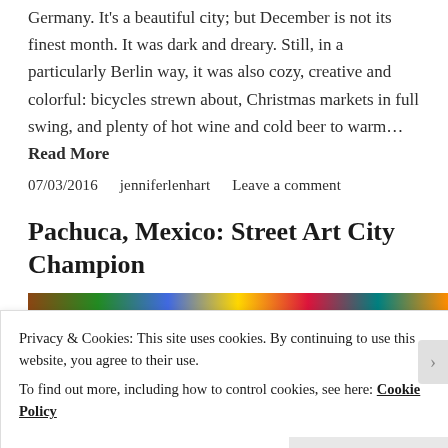Germany. It's a beautiful city; but December is not its finest month. It was dark and dreary. Still, in a particularly Berlin way, it was also cozy, creative and colorful: bicycles strewn about, Christmas markets in full swing, and plenty of hot wine and cold beer to warm… Read More
07/03/2016   jenniferlenhart   Leave a comment
Pachuca, Mexico: Street Art City Champion
[Figure (photo): Colorful image strip partially visible, showing vibrant street art colors]
Privacy & Cookies: This site uses cookies. By continuing to use this website, you agree to their use. To find out more, including how to control cookies, see here: Cookie Policy
Close and accept